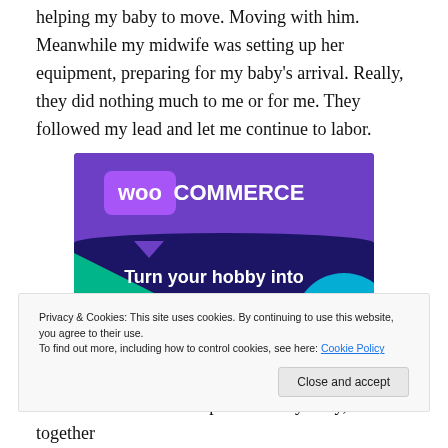helping my baby to move. Moving with him. Meanwhile my midwife was setting up her equipment, preparing for my baby's arrival. Really, they did nothing much to me or for me. They followed my lead and let me continue to labor.
[Figure (illustration): WooCommerce advertisement banner showing purple and dark blue background with green and cyan geometric shapes, WooCommerce logo at top, text reading 'Turn your hobby into a business in 8 steps']
Privacy & Cookies: This site uses cookies. By continuing to use this website, you agree to their use.
To find out more, including how to control cookies, see here: Cookie Policy
of rest. The mountain top. Me and by baby, there together